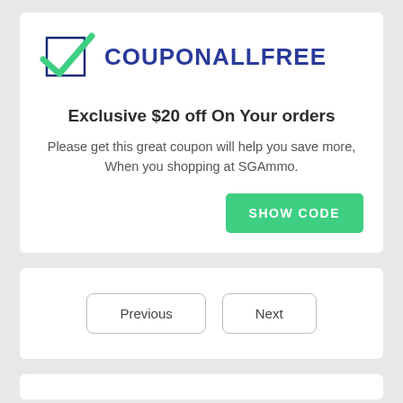[Figure (logo): CouponAllFree logo with green checkmark in a square box and bold blue text COUPONALLFREE]
Exclusive $20 off On Your orders
Please get this great coupon will help you save more, When you shopping at SGAmmo.
SHOW CODE
Previous
Next